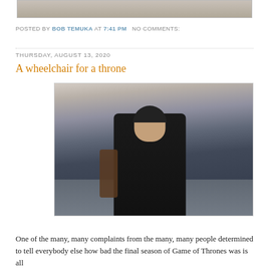[Figure (photo): Partial top strip of a photo visible at top of page]
POSTED BY BOB TEMUKA AT 7:41 PM   NO COMMENTS:
THURSDAY, AUGUST 13, 2020
A wheelchair for a throne
[Figure (photo): A young man with dark hair seated in what appears to be a wooden chair outdoors near rocky terrain and water, wearing a dark fur-trimmed coat — Bran Stark from Game of Thrones]
One of the many, many complaints from the many, many people determined to tell everybody else how bad the final season of Game of Thrones was is all